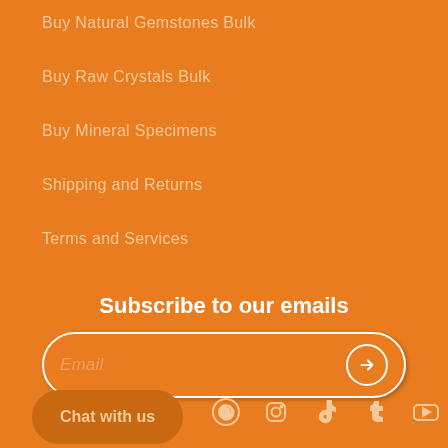Buy Natural Gemstones Bulk
Buy Raw Crystals Bulk
Buy Mineral Specimens
Shipping and Returns
Terms and Services
Subscribe to our emails
Email
Chat with us